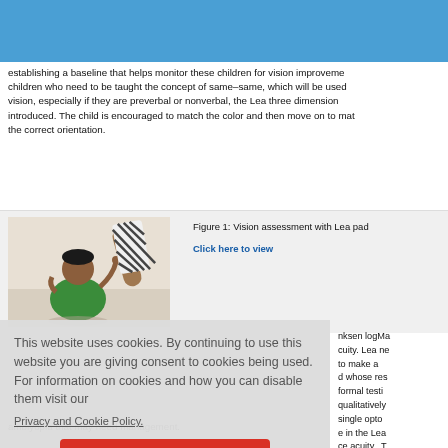establishing a baseline that helps monitor these children for vision improvement. children who need to be taught the concept of same–same, which will be used vision, especially if they are preverbal or nonverbal, the Lea three dimension introduced. The child is encouraged to match the color and then move on to match the correct orientation.
[Figure (photo): Photo of a young child in green clothing sitting on the floor, with an adult hand holding a Lea paddle test card with diagonal stripes in front of them.]
Figure 1: Vision assessment with Lea paddle
Click here to view
nksen logMa
cuity. Lea ne
to make a
d whose res
formal testi
qualitatively
single opto
e in the Lea
ce acuity. T
This website uses cookies. By continuing to use this website you are giving consent to cookies being used. For information on cookies and how you can disable them visit our
Privacy and Cookie Policy.
AGREE & PROCEED
amblyopia that may need management.